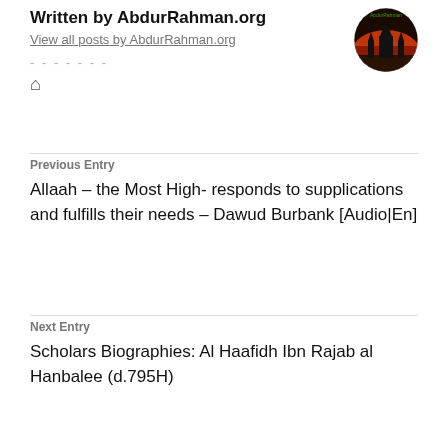Written by AbdurRahman.org
View all posts by AbdurRahman.org
-------
[Figure (photo): Circular avatar showing mosque/Kaaba with red sky, AbdurRahman.org site logo]
Previous Entry
Allaah – the Most High- responds to supplications and fulfills their needs – Dawud Burbank [Audio|En]
Next Entry
Scholars Biographies: Al Haafidh Ibn Rajab al Hanbalee (d.795H)